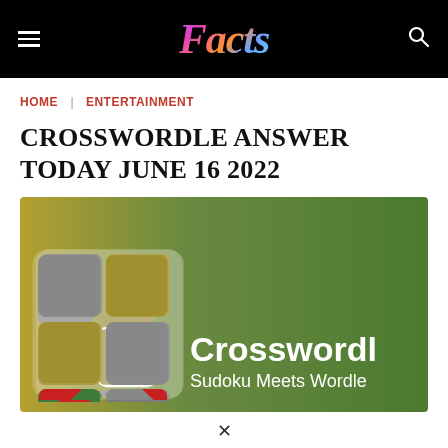Facts
HOME | ENTERTAINMENT
CROSSWORDLE ANSWER TODAY JUNE 16 2022
[Figure (illustration): Crosswordle game banner with a 2x3 grid of colored tiles (grey, olive, green, red) on the left side and white bold text 'Crosswordle' with subtitle 'Sudoku Meets Wordle' on a green gradient background.]